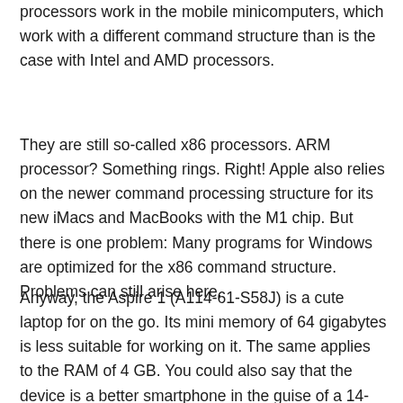processors work in the mobile minicomputers, which work with a different command structure than is the case with Intel and AMD processors.
They are still so-called x86 processors. ARM processor? Something rings. Right! Apple also relies on the newer command processing structure for its new iMacs and MacBooks with the M1 chip. But there is one problem: Many programs for Windows are optimized for the x86 command structure. Problems can still arise here.
Anyway, the Aspire 1 (A114-61-S58J) is a cute laptop for on the go. Its mini memory of 64 gigabytes is less suitable for working on it. The same applies to the RAM of 4 GB. You could also say that the device is a better smartphone in the guise of a 14-inch laptop. That's enough for surfing and streaming. But nothing more. Unfortunately, the Aspire 1 (A114-61-S58J) does not offer an HDMI input. So you can't